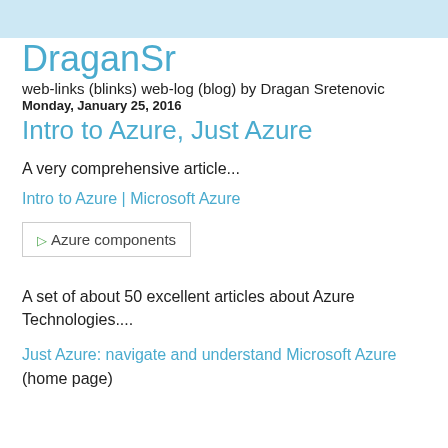DraganSr
web-links (blinks) web-log (blog) by Dragan Sretenovic
Monday, January 25, 2016
Intro to Azure, Just Azure
A very comprehensive article...
Intro to Azure | Microsoft Azure
[Figure (other): Broken image placeholder with alt text: Azure components]
A set of about 50 excellent articles about Azure Technologies....
Just Azure: navigate and understand Microsoft Azure (home page)